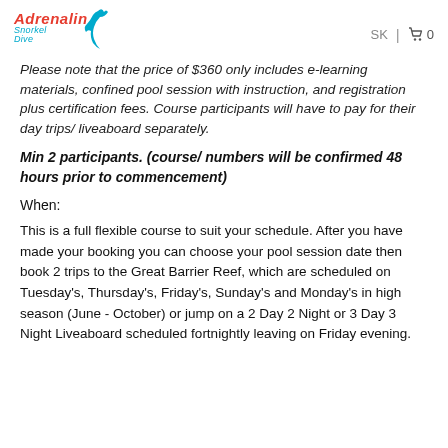Adrenalin Snorkel Dive | SK | 0
Please note that the price of $360 only includes e-learning materials, confined pool session with instruction, and registration plus certification fees. Course participants will have to pay for their day trips/ liveaboard separately.
Min 2 participants. (course/ numbers will be confirmed 48 hours prior to commencement)
When:
This is a full flexible course to suit your schedule. After you have made your booking you can choose your pool session date then book 2 trips to the Great Barrier Reef, which are scheduled on Tuesday's, Thursday's, Friday's, Sunday's and Monday's in high season (June - October) or jump on a 2 Day 2 Night or 3 Day 3 Night Liveaboard scheduled fortnightly leaving on Friday evening.